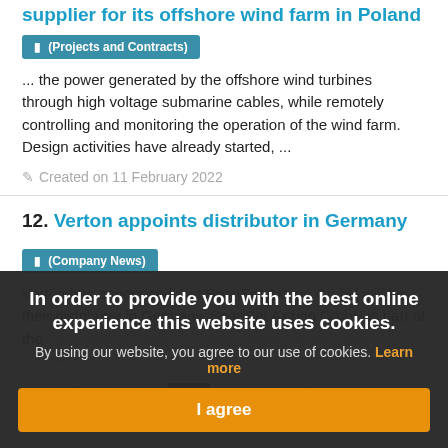supplier for its offshore wind farm in Poland
(Projects and Contracts)
... the power generated by the offshore wind turbines through high voltage submarine cables, while remotely controlling and monitoring the operation of the wind farm. Design activities have already started, ...
Created on 11 February 2022
12. Verton appoints distributor in Germany
(Company News)
Verton has announced that SpanSet Axzion GmbH will be their distributor in Germany. SpanSet Axzion GmbH is part of the international SpanSet Group, supplying individual custom-
In order to provide you with the best online experience this website uses cookies.
By using our website, you agree to our use of cookies. Learn more
I agree
13. GE selected ... e wind R&D awards